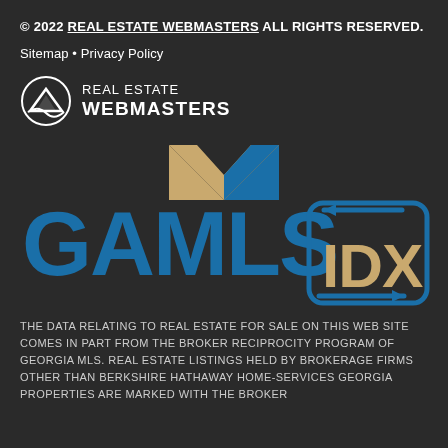© 2022 REAL ESTATE WEBMASTERS ALL RIGHTS RESERVED.
Sitemap • Privacy Policy
[Figure (logo): Real Estate Webmasters logo: circular mountain icon with swoosh on left, text REAL ESTATE WEBMASTERS on right]
[Figure (logo): GAMLS IDX logo: large blue GAMLS text with house roofline above (beige/blue), and IDX in gold letters inside a rounded square with blue arrows]
THE DATA RELATING TO REAL ESTATE FOR SALE ON THIS WEB SITE COMES IN PART FROM THE BROKER RECIPROCITY PROGRAM OF GEORGIA MLS. REAL ESTATE LISTINGS HELD BY BROKERAGE FIRMS OTHER THAN BERKSHIRE HATHAWAY HOME-SERVICES GEORGIA PROPERTIES ARE MARKED WITH THE BROKER